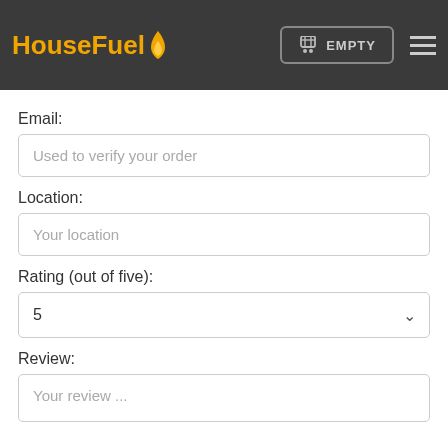HouseFuel — EMPTY
Email:
Used to verify your order
Location:
Your location
Rating (out of five):
5
Review:
Your review ...